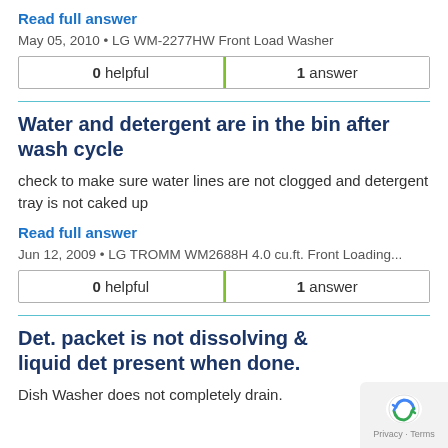Read full answer
May 05, 2010 • LG WM-2277HW Front Load Washer
| 0 helpful | 1 answer |
Water and detergent are in the bin after wash cycle
check to make sure water lines are not clogged and detergent tray is not caked up
Read full answer
Jun 12, 2009 • LG TROMM WM2688H 4.0 cu.ft. Front Loading...
| 0 helpful | 1 answer |
Det. packet is not dissolving & liquid det present when done.
Dish Washer does not completely drain.